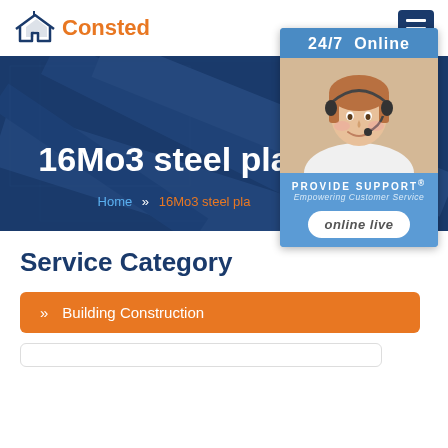Consted
[Figure (screenshot): Hero banner with dark blue background showing '16Mo3 steel pla...' title and breadcrumb navigation with Home >> 16Mo3 steel pla...]
[Figure (infographic): 24/7 Online support widget with customer service representative photo, 'PROVIDE SUPPORT® Empowering Customer Service' branding, and 'online live' button]
Service Category
» Building Construction